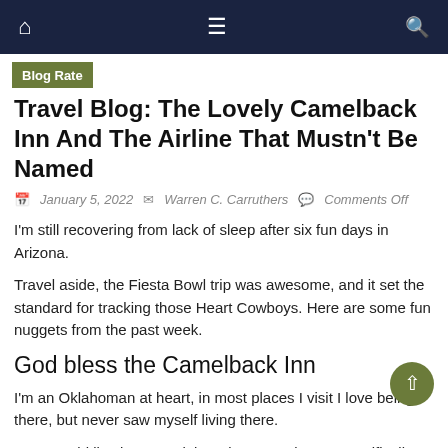Navigation bar with home, menu, and search icons
Blog Rate
Travel Blog: The Lovely Camelback Inn And The Airline That Mustn't Be Named
January 5, 2022   Warren C. Carruthers   Comments Off
I'm still recovering from lack of sleep after six fun days in Arizona.
Travel aside, the Fiesta Bowl trip was awesome, and it set the standard for tracking those Heart Cowboys. Here are some fun nuggets from the past week.
God bless the Camelback Inn
I'm an Oklahoman at heart, in most places I visit I love being there, but never saw myself living there.
But, I could live in Scottsdale, Arizona, and more specifically